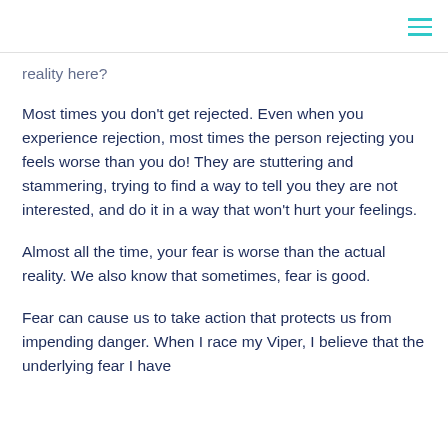reality here?
Most times you don't get rejected.  Even when you experience rejection, most times the person rejecting you feels worse than you do!  They are stuttering and stammering, trying to find a way to tell you they are not interested, and do it in a way that won't hurt your feelings.
Almost all the time, your fear is worse than the actual reality.  We also know that sometimes, fear is good.
Fear can cause us to take action that protects us from impending danger.  When I race my Viper, I believe that the underlying fear I have